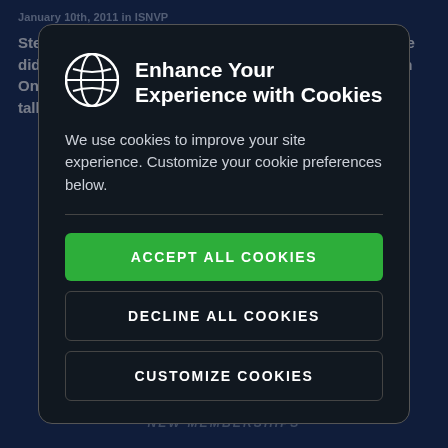Stergios takes three wins on "the Paperclip" Though he didn't have a win to his credit during the week, Division One NASCAR Tour Modified driver Royce Valley stood tall as the big winner
[Figure (screenshot): Cookie consent modal dialog with dark background, globe icon, title 'Enhance Your Experience with Cookies', description text, and three buttons: Accept All Cookies (green), Decline All Cookies, Customize Cookies]
40% Off
NEW MEMBERSHIPS